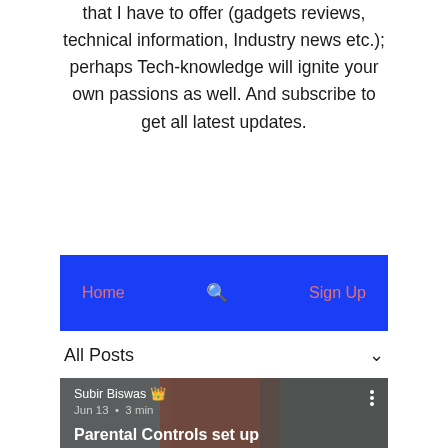that I have to offer (gadgets reviews, technical information, Industry news etc.); perhaps Tech-knowledge will ignite your own passions as well. And subscribe to get all latest updates.
[Figure (screenshot): Blue navigation bar with Home, search icon, and Sign Up links in red/pink text]
All Posts
[Figure (photo): Card image showing children using smartphones, with author Subir Biswas, Jun 13 · 3 min, and title 'Parental Controls set up']